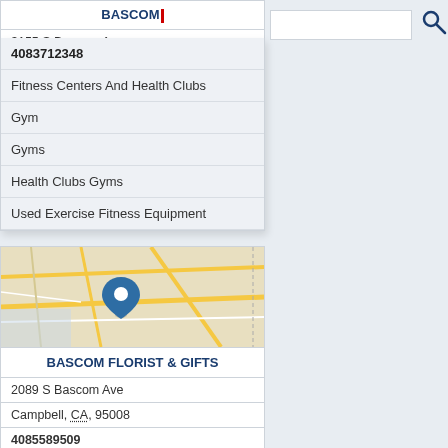BASCOM [cursor]
3155 S Bascom Av
Campbell, CA, 950
4083712348
Fitness Centers And Health Clubs
Gym
Gyms
Health Clubs Gyms
Used Exercise Fitness Equipment
[Figure (map): Street map showing location pin in Campbell/San Jose area with road network in beige/yellow tones]
BASCOM FLORIST & GIFTS
2089 S Bascom Ave
Campbell, CA, 95008
4085589509
Florist
Florists
Flower Shop
Flowers